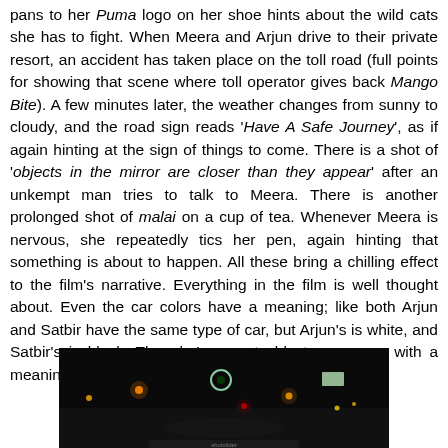pans to her Puma logo on her shoe hints about the wild cats she has to fight. When Meera and Arjun drive to their private resort, an accident has taken place on the toll road (full points for showing that scene where toll operator gives back Mango Bite). A few minutes later, the weather changes from sunny to cloudy, and the road sign reads 'Have A Safe Journey', as if again hinting at the sign of things to come. There is a shot of 'objects in the mirror are closer than they appear' after an unkempt man tries to talk to Meera. There is another prolonged shot of malai on a cup of tea. Whenever Meera is nervous, she repeatedly tics her pen, again hinting that something is about to happen. All these bring a chilling effect to the film's narrative. Everything in the film is well thought about. Even the car colors have a meaning; like both Arjun and Satbir have the same type of car, but Arjun's is white, and Satbir's is black. Though I am not able to come up with a meaning of the repeated use of cigarette by Meera.
[Figure (photo): A dark nighttime road scene viewed from inside a car, showing distant colored lights (orange, green, red, yellow) through the windshield against a black background.]